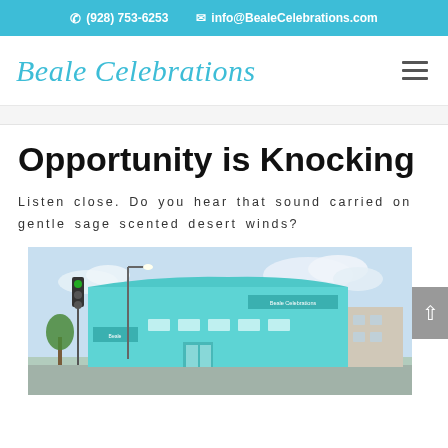(928) 753-6253   info@BealeCelebrations.com
Beale Celebrations
Opportunity is Knocking
Listen close. Do you hear that sound carried on gentle sage scented desert winds?
[Figure (photo): Exterior photo of the Beale Celebrations building, a turquoise/teal colored mid-century modern style commercial building at a street corner with traffic lights and trees visible.]